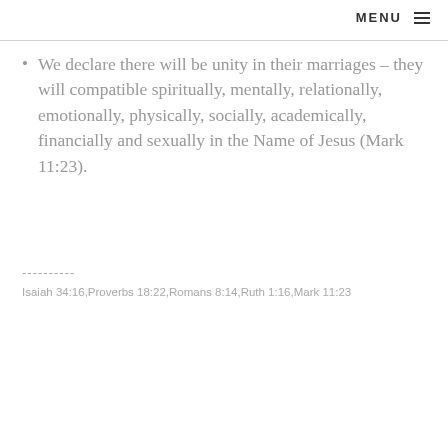MENU ≡
We declare there will be unity in their marriages – they will compatible spiritually, mentally, relationally, emotionally, physically, socially, academically, financially and sexually in the Name of Jesus (Mark 11:23).
----------
Isaiah 34:16,Proverbs 18:22,Romans 8:14,Ruth 1:16,Mark 11:23